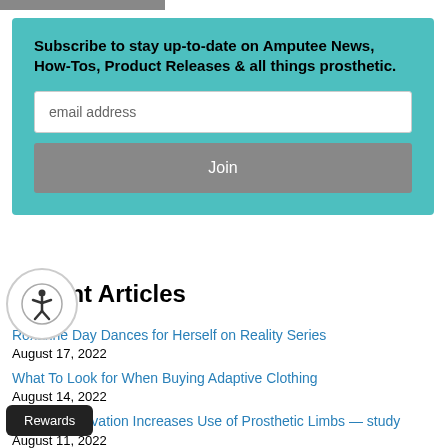Subscribe to stay up-to-date on Amputee News, How-Tos, Product Releases & all things prosthetic.
Recent Articles
Roxanne Day Dances for Herself on Reality Series — August 17, 2022
What To Look for When Buying Adaptive Clothing — August 14, 2022
Positive Motivation Increases Use of Prosthetic Limbs — study — August 11, 2022
New Digital Human Model Can Help Develop Better Prosthetics — August 09, 2022